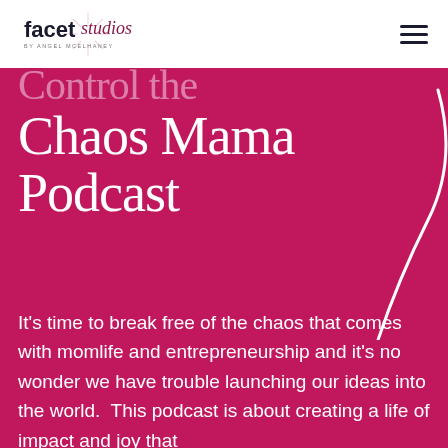facet studios BY ANGEL MCELHANEY
Control the Chaos Mama Podcast
It's time to break free of the chaos that comes with momlife and entrepreneurship and it's no wonder we have trouble launching our ideas into the world.  This podcast is about creating a life of impact and joy that